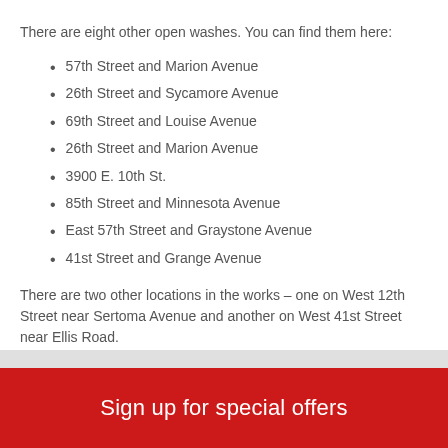There are eight other open washes. You can find them here:
57th Street and Marion Avenue
26th Street and Sycamore Avenue
69th Street and Louise Avenue
26th Street and Marion Avenue
3900 E. 10th St.
85th Street and Minnesota Avenue
East 57th Street and Graystone Avenue
41st Street and Grange Avenue
There are two other locations in the works – one on West 12th Street near Sertoma Avenue and another on West 41st Street near Ellis Road.
Posted in Latest News
Sign up for special offers